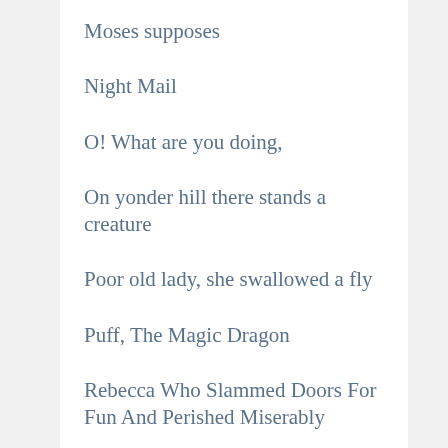Moses supposes
Night Mail
O! What are you doing,
On yonder hill there stands a creature
Poor old lady, she swallowed a fly
Puff, The Magic Dragon
Rebecca Who Slammed Doors For Fun And Perished Miserably